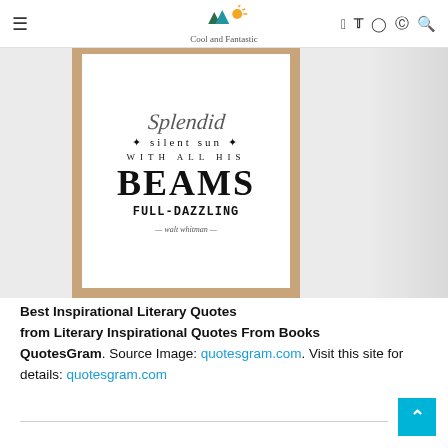Cool and Fantastic
[Figure (photo): A framed quote print with wood frame showing text: 'Splendid silent sun WITH ALL HIS BEAMS FULL-DAZZLING — walt whitman —']
Best Inspirational Literary Quotes from Literary Inspirational Quotes From Books QuotesGram. Source Image: quotesgram.com. Visit this site for details: quotesgram.com